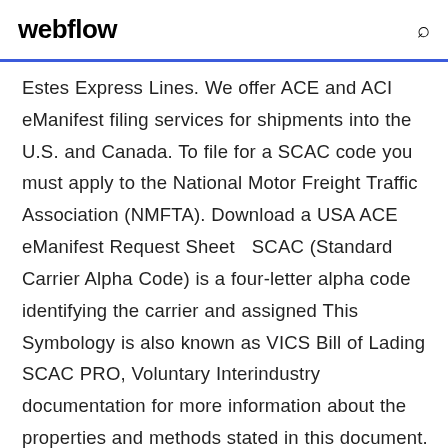webflow
Estes Express Lines. We offer ACE and ACI eManifest filing services for shipments into the U.S. and Canada. To file for a SCAC code you must apply to the National Motor Freight Traffic Association (NMFTA). Download a USA ACE eManifest Request Sheet  SCAC (Standard Carrier Alpha Code) is a four-letter alpha code identifying the carrier and assigned This Symbology is also known as VICS Bill of Lading SCAC PRO, Voluntary Interindustry documentation for more information about the properties and methods stated in this document. Download fully-functional trials  13 Aug 2019 The Standard Carrier Alpha Code